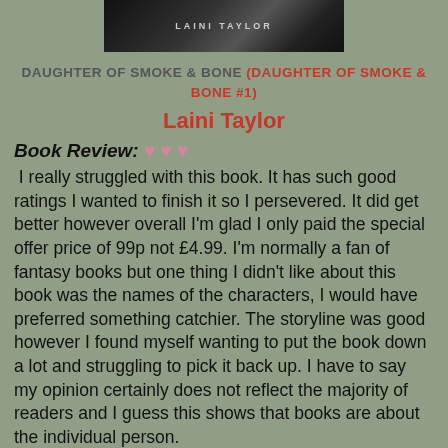[Figure (photo): Book cover image showing 'Laini Taylor' text against a dark background]
DAUGHTER OF SMOKE & BONE (DAUGHTER OF SMOKE & BONE #1)
Laini Taylor
Book Review: ♥ ♥ ♥
I really struggled with this book. It has such good ratings I wanted to finish it so I persevered. It did get better however overall I'm glad I only paid the special offer price of 99p not £4.99. I'm normally a fan of fantasy books but one thing I didn't like about this book was the names of the characters, I would have preferred something catchier. The storyline was good however I found myself wanting to put the book down a lot and struggling to pick it back up. I have to say my opinion certainly does not reflect the majority of readers and I guess this shows that books are about the individual person. Karou lives in the human world but has connections to the magical one. She was raised by the magical world but has only dipped her toe into the unknown. She lives in Prague and loves to fill her time with art. She runs errands for the creatures that raised her when they call and doesn't ask any questions. Her life is a mystery even to her but the truth